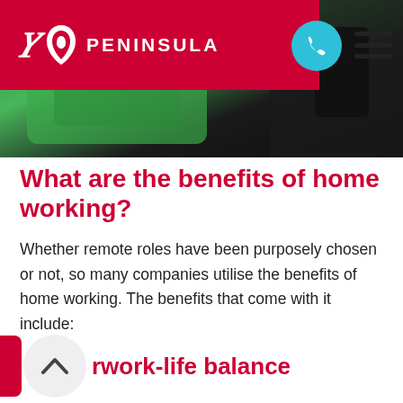PENINSULA
[Figure (photo): Hero image showing a person in a green hoodie in a vehicle interior, dark background]
What are the benefits of home working?
Whether remote roles have been purposely chosen or not, so many companies utilise the benefits of home working. The benefits that come with it include:
rwork-life balance